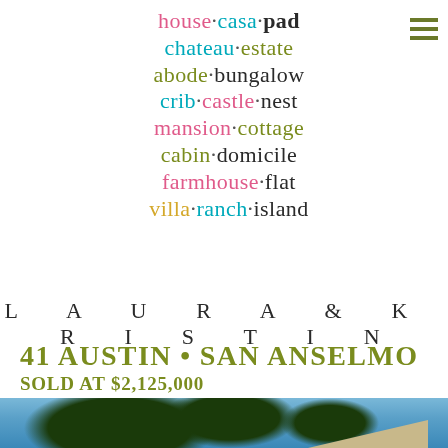house·casa·pad chateau·estate abode·bungalow crib·castle·nest mansion·cottage cabin·domicile farmhouse·flat villa·ranch·island
LAURA & KRISTIN
41 AUSTIN • SAN ANSELMO
SOLD AT $2,125,000
[Figure (photo): Exterior photo of house at 41 Austin, San Anselmo, showing trees and roofline against blue sky]